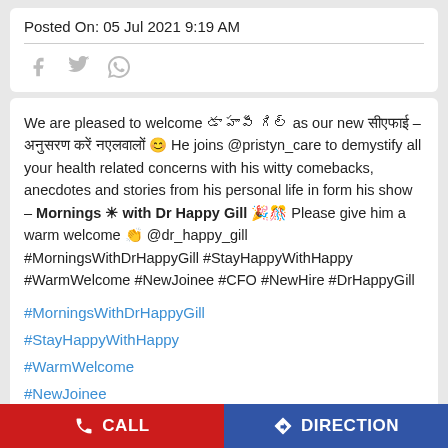Posted On: 05 Jul 2021 9:19 AM
[Figure (illustration): Social share icons: Facebook, Twitter, WhatsApp]
We are pleased to welcome [Hindi text] as our new [Hindi text] – [Hindi text] 😊 He joins @pristyn_care to demystify all your health related concerns with his witty comebacks, anecdotes and stories from his personal life in form his show – Mornings ☀ with Dr Happy Gill 🎉🎊 Please give him a warm welcome 👏 @dr_happy_gill #MorningsWithDrHappyGill #StayHappyWithHappy #WarmWelcome #NewJoinee #CFO #NewHire #DrHappyGill
#MorningsWithDrHappyGill
#StayHappyWithHappy
#WarmWelcome
#NewJoinee
CALL   DIRECTION